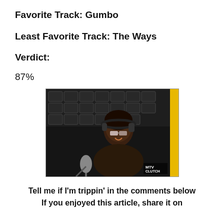Favorite Track: Gumbo
Least Favorite Track: The Ways
Verdict:
87%
[Figure (photo): Person wearing headphones and glasses speaking into a microphone in a recording studio setting, with acoustic panels on the wall and a yellow vertical bar on the right. MTV Clutch logo visible in the bottom right.]
Tell me if I'm trippin' in the comments below If you enjoyed this article, share it on